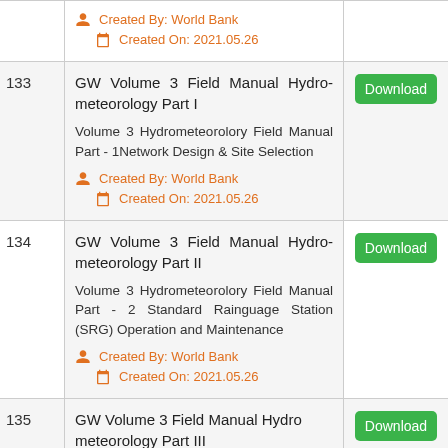| # | Document | Action |
| --- | --- | --- |
|  | Created By: World Bank
Created On: 2021.05.26 |  |
| 133 | GW Volume 3 Field Manual Hydrometeorology Part I
Volume 3 Hydrometeorolory Field Manual Part - 1Network Design & Site Selection
Created By: World Bank
Created On: 2021.05.26 | Download |
| 134 | GW Volume 3 Field Manual Hydrometeorology Part II
Volume 3 Hydrometeorolory Field Manual Part - 2 Standard Rainguage Station (SRG) Operation and Maintenance
Created By: World Bank
Created On: 2021.05.26 | Download |
| 135 | GW Volume 3 Field Manual Hydro-meteorology Part III | Download |